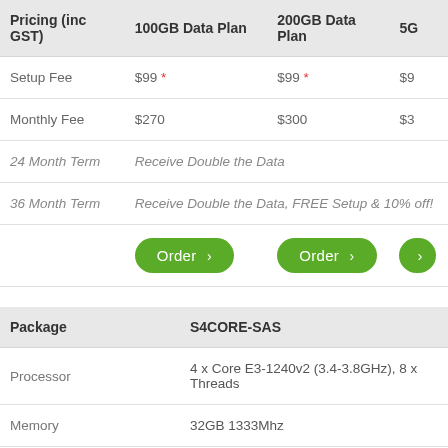| Pricing (inc GST) | 100GB Data Plan | 200GB Data Plan | 50… |
| --- | --- | --- | --- |
| Setup Fee | $99 * | $99 * | $9… |
| Monthly Fee | $270 | $300 | $3… |
| 24 Month Term | Receive Double the Data |  |  |
| 36 Month Term | Receive Double the Data, FREE Setup & 10% off! |  |  |
|  | Order > | Order > | … |
| Package | S4CORE-SAS |
| --- | --- |
| Processor | 4 x Core E3-1240v2 (3.4-3.8GHz), 8 x Threads |
| Memory | 32GB 1333Mhz |
| Storage | 2 x 600GB SAS 10K, RAID1 |
| RAID | Hardware PERC H310 |